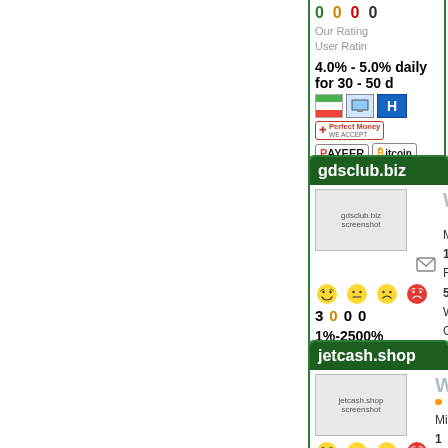0 0 0 0
Our Rating
User Rating
4.0% - 5.0% daily for 30 - 50 d
[Figure (logo): Perfect Money, Payeer, Bitcoin payment badges]
gdsclub.biz
[Figure (screenshot): gdsclub.biz screenshot thumbnail]
WAITING
Min/Max: 1
Referral: 5
Withdrawal
Our Rating
User Rating
3  0  0  0
1%-2500%
[Figure (logo): Perfect Money, Payeer, Bitcoin payment badges]
jetcash.shop
[Figure (screenshot): jetcash.shop screenshot thumbnail]
WAITING
Min/Max: 1
Referral: 5